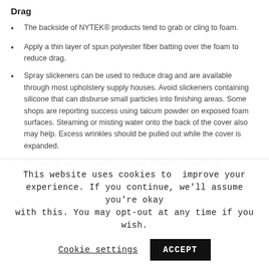Drag
The backside of NYTEK® products tend to grab or cling to foam.
Apply a thin layer of spun polyester fiber batting over the foam to reduce drag.
Spray slickeners can be used to reduce drag and are available through most upholstery supply houses. Avoid slickeners containing silicone that can disburse small particles into finishing areas. Some shops are reporting success using talcum powder on exposed foam surfaces. Steaming or misting water onto the back of the cover also may help. Excess wrinkles should be pulled out while the cover is expanded.
Majilite can add a backer to NYTEK® products to provide a
This website uses cookies to improve your experience. If you continue, we'll assume you're okay with this. You may opt-out at any time if you wish.
Cookie settings   ACCEPT